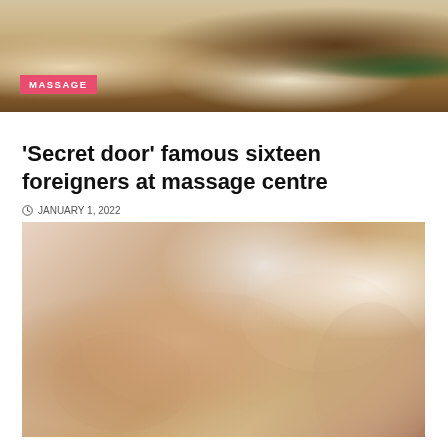[Figure (photo): Banner image showing a spa/massage setting with candles, flowers, wooden tray, and spa accessories. A pink label reading 'MASSAGE' is overlaid on the lower left.]
'Secret door' famous sixteen foreigners at massage centre
JANUARY 1, 2022
[Figure (photo): Photo of a woman lying face down receiving a back massage from a therapist's hands, in a spa setting.]